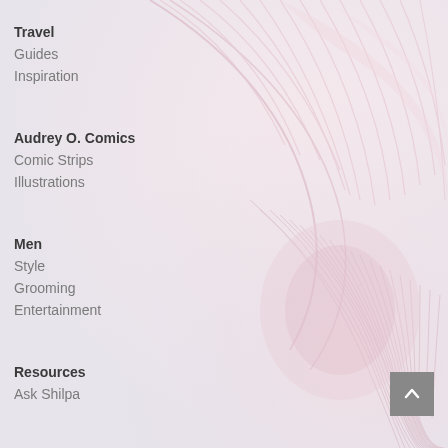Travel
Guides
Inspiration
Audrey O. Comics
Comic Strips
Illustrations
Men
Style
Grooming
Entertainment
Resources
Ask Shilpa
[Figure (illustration): Light pink and white feather or floral close-up texture filling the right and center portion of the page background]